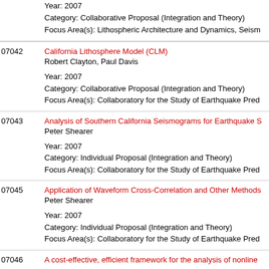Year: 2007
Category: Collaborative Proposal (Integration and Theory)
Focus Area(s): Lithospheric Architecture and Dynamics, Seism...
07042 | California Lithosphere Model (CLM) | Robert Clayton, Paul Davis | Year: 2007 | Category: Collaborative Proposal (Integration and Theory) | Focus Area(s): Collaboratory for the Study of Earthquake Pred...
07043 | Analysis of Southern California Seismograms for Earthquake S... | Peter Shearer | Year: 2007 | Category: Individual Proposal (Integration and Theory) | Focus Area(s): Collaboratory for the Study of Earthquake Pred...
07045 | Application of Waveform Cross-Correlation and Other Methods... | Peter Shearer | Year: 2007 | Category: Individual Proposal (Integration and Theory) | Focus Area(s): Collaboratory for the Study of Earthquake Pred...
07046 | A cost-effective, efficient framework for the analysis of nonline...